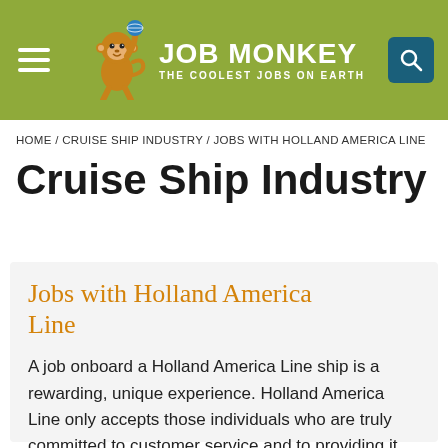JOB MONKEY — THE COOLEST JOBS ON EARTH
HOME / CRUISE SHIP INDUSTRY / JOBS WITH HOLLAND AMERICA LINE
Cruise Ship Industry
Jobs with Holland America Line
A job onboard a Holland America Line ship is a rewarding, unique experience. Holland America Line only accepts those individuals who are truly committed to customer service and to providing it elegantly to guests.